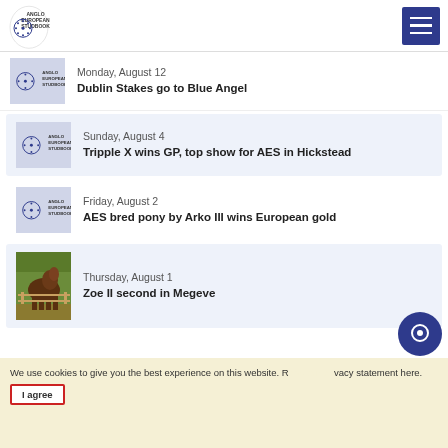Anglo European Studbook
Monday, August 12 — Dublin Stakes go to Blue Angel
Sunday, August 4 — Tripple X wins GP, top show for AES in Hickstead
Friday, August 2 — AES bred pony by Arko III wins European gold
Thursday, August 1 — Zoe II second in Megeve
We use cookies to give you the best experience on this website. R...vacy statement here.
I agree